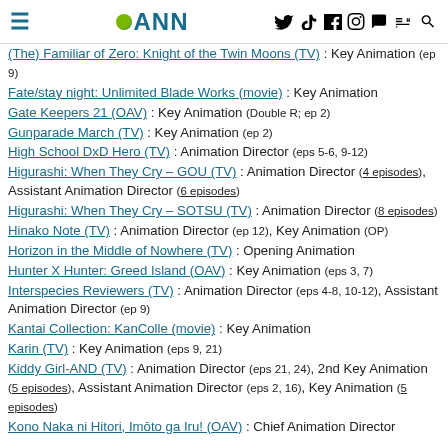ANN (Anime News Network) site header with navigation icons
(The) Familiar of Zero: Knight of the Twin Moons (TV) : Key Animation (ep 9)
Fate/stay night: Unlimited Blade Works (movie) : Key Animation
Gate Keepers 21 (OAV) : Key Animation (Double R; ep 2)
Gunparade March (TV) : Key Animation (ep 2)
High School DxD Hero (TV) : Animation Director (eps 5-6, 9-12)
Higurashi: When They Cry – GOU (TV) : Animation Director (4 episodes), Assistant Animation Director (6 episodes)
Higurashi: When They Cry – SOTSU (TV) : Animation Director (8 episodes)
Hinako Note (TV) : Animation Director (ep 12), Key Animation (OP)
Horizon in the Middle of Nowhere (TV) : Opening Animation
Hunter X Hunter: Greed Island (OAV) : Key Animation (eps 3, 7)
Interspecies Reviewers (TV) : Animation Director (eps 4-8, 10-12), Assistant Animation Director (ep 9)
Kantai Collection: KanColle (movie) : Key Animation
Karin (TV) : Key Animation (eps 9, 21)
Kiddy Girl-AND (TV) : Animation Director (eps 21, 24), 2nd Key Animation (5 episodes), Assistant Animation Director (eps 2, 16), Key Animation (5 episodes)
Kono Naka ni Hitori, Imōto ga Iru! (OAV) : Chief Animation Director